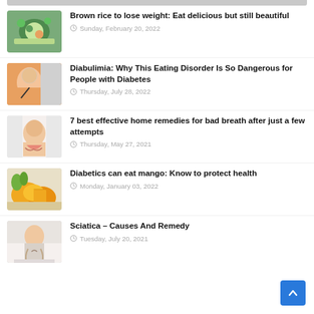[Figure (photo): Partial thumbnail of first article at top, cropped]
[Figure (photo): Bowl of healthy food with avocado and salad]
Brown rice to lose weight: Eat delicious but still beautiful
Sunday, February 20, 2022
[Figure (photo): Person in orange shirt being examined with stethoscope, wearing mask]
Diabulimia: Why This Eating Disorder Is So Dangerous for People with Diabetes
Thursday, July 28, 2022
[Figure (photo): Smiling woman with hands on cheeks]
7 best effective home remedies for bad breath after just a few attempts
Thursday, May 27, 2021
[Figure (photo): Mangoes, sliced and whole]
Diabetics can eat mango: Know to protect health
Monday, January 03, 2022
[Figure (photo): Woman sitting on bed holding her back in pain]
Sciatica – Causes And Remedy
Tuesday, July 20, 2021